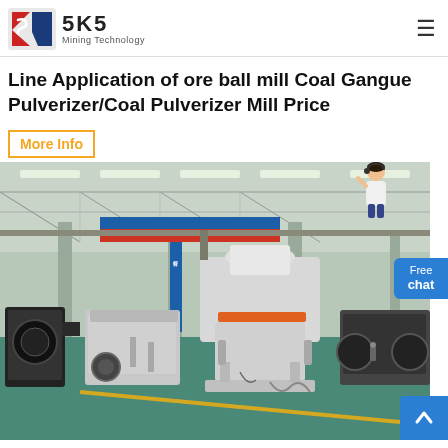SKS Mining Technology
Line Application of ore ball mill Coal Gangue Pulverizer/Coal Pulverizer Mill Price
More Info
[Figure (photo): Interior of a large industrial factory/workshop showing multiple heavy mining machines including cone crushers and jaw crushers on a green epoxy floor. Chinese banners visible on columns, overhead crane rails, fluorescent lighting.]